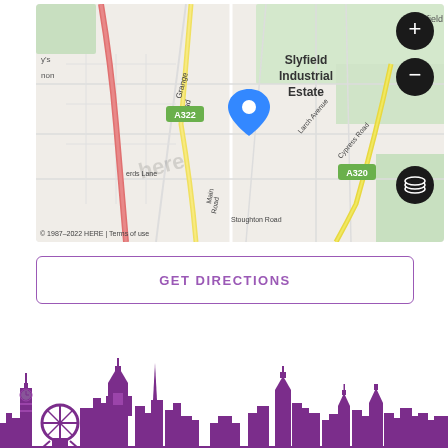[Figure (map): Street map showing Slyfield Industrial Estate area near Guildford, UK. Shows roads including A322, A320, Grange Road, Larch Avenue, Cypress Road, Stoughton Road, and Main Road. A blue location pin is placed near the center. Map includes zoom controls (+/-) and a layer toggle button. Scale bar shows 500m. Copyright: 1987-2022 HERE | Terms of use.]
GET DIRECTIONS
[Figure (illustration): Purple city skyline silhouette featuring landmarks including Big Ben, London Eye, and various skyscrapers.]